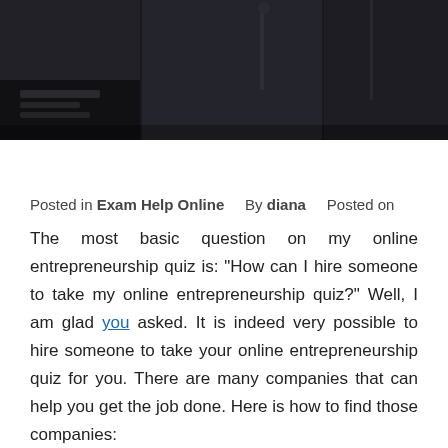[Figure (photo): Dark background photo, appears to show an interior scene with dim lighting]
Posted in Exam Help Online   By diana   Posted on
The most basic question on my online entrepreneurship quiz is: “How can I hire someone to take my online entrepreneurship quiz?” Well, I am glad you asked. It is indeed very possible to hire someone to take your online entrepreneurship quiz for you. There are many companies that can help you get the job done. Here is how to find those companies: